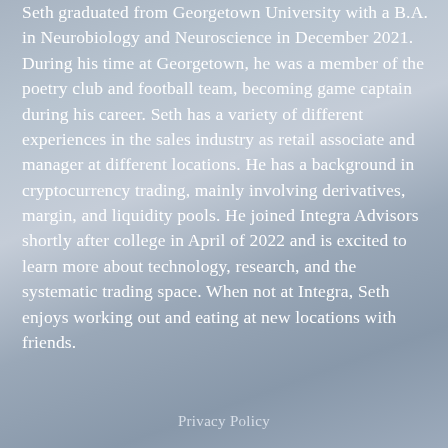Seth graduated from Georgetown University with a B.A. in Neurobiology and Neuroscience in December 2021. During his time at Georgetown, he was a member of the poetry club and football team, becoming game captain during his career. Seth has a variety of different experiences in the sales industry as retail associate and manager at different locations. He has a background in cryptocurrency trading, mainly involving derivatives, margin, and liquidity pools. He joined Integra Advisors shortly after college in April of 2022 and is excited to learn more about technology, research, and the systematic trading space. When not at Integra, Seth enjoys working out and eating at new locations with friends.
Privacy Policy